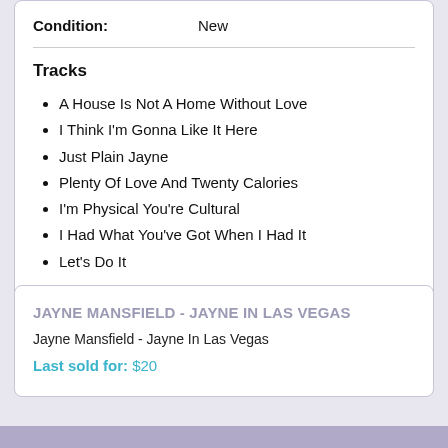Condition: New
Tracks
A House Is Not A Home Without Love
I Think I'm Gonna Like It Here
Just Plain Jayne
Plenty Of Love And Twenty Calories
I'm Physical You're Cultural
I Had What You've Got When I Had It
Let's Do It
(Coloured Vinyl)
JAYNE MANSFIELD - JAYNE IN LAS VEGAS
Jayne Mansfield - Jayne In Las Vegas
Last sold for: $20